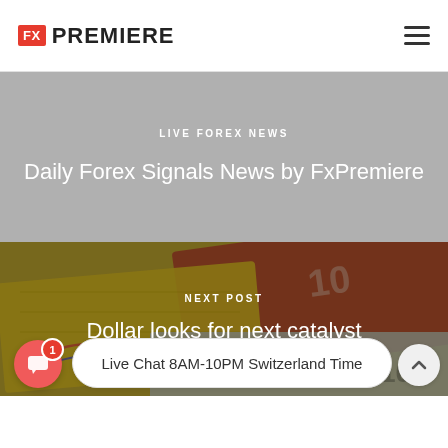FX PREMIERE
LIVE FOREX NEWS
Daily Forex Signals News by FxPremiere
[Figure (photo): Background photo of currency banknotes (Euro, Dollar, and other currencies) fanned out on a surface]
NEXT POST
Dollar looks for next catalyst
Live Chat 8AM-10PM Switzerland Time